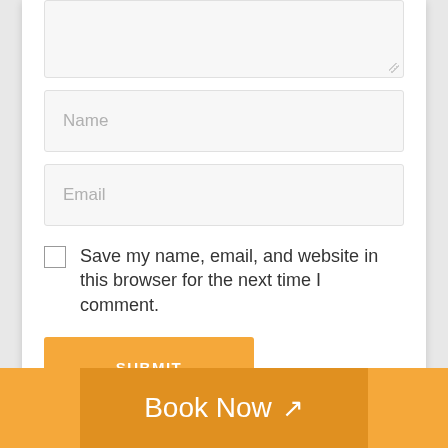[Figure (screenshot): Partial textarea input box with resize handle at bottom right, showing a form comment area]
Name
Email
Save my name, email, and website in this browser for the next time I comment.
SUBMIT
Book Now ↗